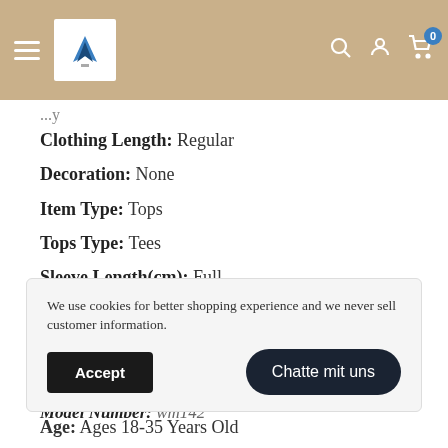Navigation bar with hamburger menu, logo, search, account, and cart icons
Clothing Length: Regular
Decoration: None
Item Type: Tops
Tops Type: Tees
Sleeve Length(cm): Full
Fit: Fits true to size, take your normal size
Pattern Them: Funny
Pattern Type: Animal
Model Number: wm142
We use cookies for better shopping experience and we never sell customer information.
Age: Ages 18-35 Years Old